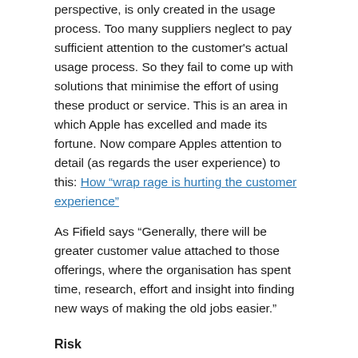perspective, is only created in the usage process.  Too many suppliers neglect to pay sufficient attention to the customer's actual usage process.  So they fail to come up with solutions that minimise the effort of using these product or service.  This is an area in which Apple has excelled and made its fortune.  Now compare Apples attention to detail (as regards the user experience) to this: How “wrap rage is hurting the customer experience”
As Fifield says “Generally, there will be greater customer value attached to those offerings, where the organisation has spent time, research, effort and insight into finding new ways of making the old jobs easier.”
Risk